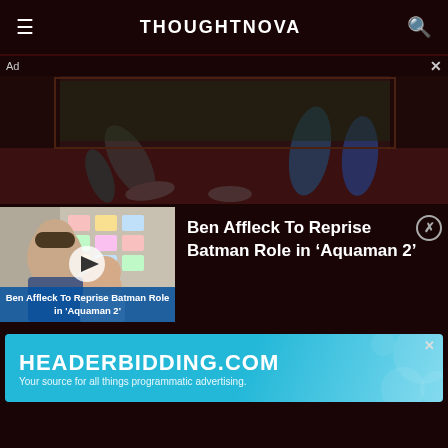THOUGHTNOVA
[Figure (photo): Video advertisement showing person's legs/feet on a surface, dimly lit]
[Figure (photo): Thumbnail of Ben Affleck with another person, video play button overlay, caption: Ben Affleck To Reprise Batman Role in 'Aquaman 2']
Ben Affleck To Reprise Batman Role in ‘Aquaman 2’
[Figure (screenshot): HEADERBIDDING.COM advertisement banner. Text: HEADERBIDDING.COM — Your source for all things programmatic advertising.]